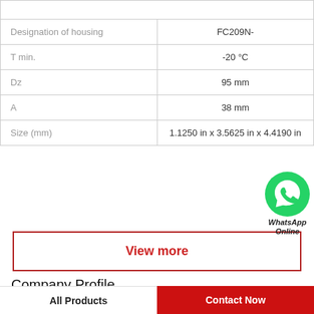| Property | Value |
| --- | --- |
| Designation of housing | FC209N- |
| T min. | -20 °C |
| Dz | 95 mm |
| A | 38 mm |
| Size (mm) | 1.1250 in x 3.5625 in x 4.4190 in |
[Figure (logo): WhatsApp Online button/icon — green circle with phone handset, labeled 'WhatsApp Online']
View more
Company Profile
All Products
Contact Now